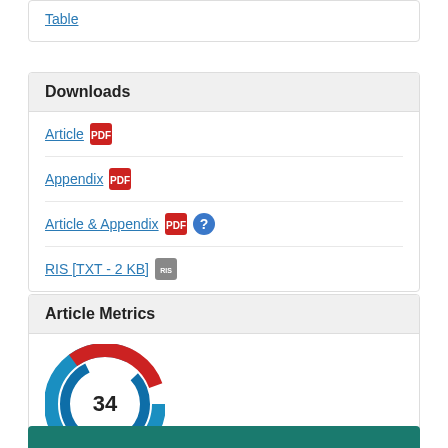Table
Downloads
Article  [PDF icon]
Appendix  [PDF icon]
Article & Appendix  [PDF icon] [help icon]
RIS [TXT - 2 KB]  [TXT icon]
Article Metrics
[Figure (other): Altmetric donut badge showing score of 34, with blue and red swirl design]
Metric Details